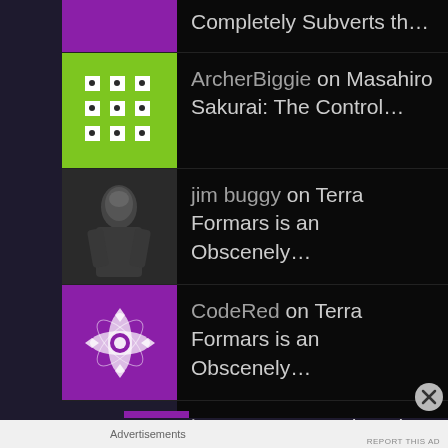Completely Subverts th...
ArcherBiggie on Masahiro Sakurai: The Control...
jim buggy on Terra Formars is an Obscenely...
CodeRed on Terra Formars is an Obscenely...
kennyu4 on My Thoughts on Each of The Lio...
Advertisements
REPORT THIS AD